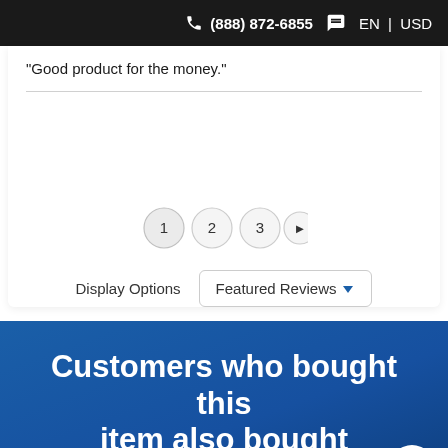(888) 872-6855  EN | USD
“Good product for the money.”
[Figure (other): Pagination controls showing buttons 1, 2, 3, and a right-arrow next button]
Display Options   Featured Reviews
Customers who bought this item also bought